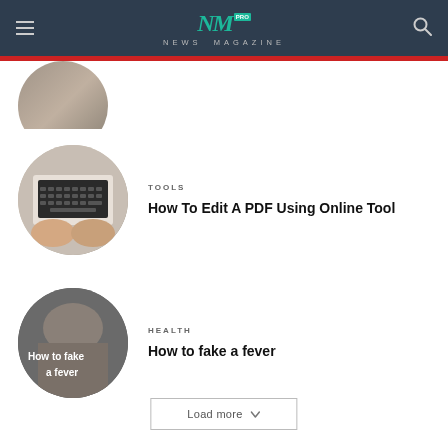NM PRO NEWS MAGAZINE
[Figure (photo): Partially visible circular photo of a person at top of article list]
TOOLS
How To Edit A PDF Using Online Tool
[Figure (photo): Circular photo of hands typing on a laptop keyboard]
HEALTH
How to fake a fever
[Figure (photo): Circular photo with text overlay reading 'How to fake a fever']
Load more